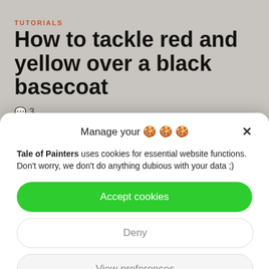TUTORIALS
How to tackle red and yellow over a black basecoat
🗨 3
Manage your 🍪🍪🍪 ×
Tale of Painters uses cookies for essential website functions. Don't worry, we don't do anything dubious with your data ;)
Accept cookies
Deny
View preferences